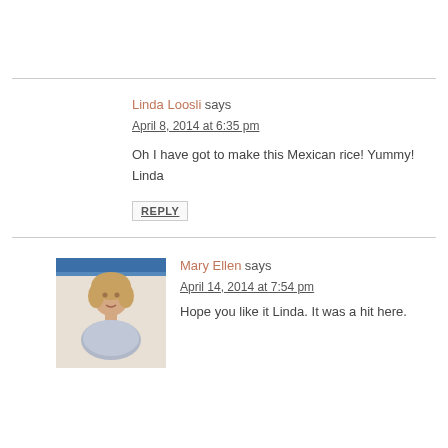Linda Loosli says
April 8, 2014 at 6:35 pm
Oh I have got to make this Mexican rice! Yummy! Linda
REPLY
[Figure (photo): Avatar photo of Mary Ellen — a woman with short blonde hair]
Mary Ellen says
April 14, 2014 at 7:54 pm
Hope you like it Linda. It was a hit here.